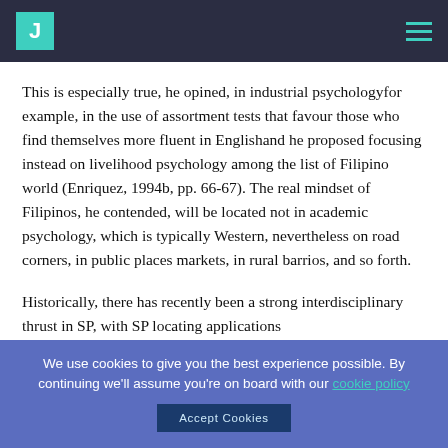J [logo] [hamburger menu]
This is especially true, he opined, in industrial psychologyfor example, in the use of assortment tests that favour those who find themselves more fluent in Englishand he proposed focusing instead on livelihood psychology among the list of Filipino world (Enriquez, 1994b, pp. 66-67). The real mindset of Filipinos, he contended, will be located not in academic psychology, which is typically Western, nevertheless on road corners, in public places markets, in rural barrios, and so forth.
Historically, there has recently been a strong interdisciplinary thrust in SP, with SP locating applications
We use cookies to give you the best experience possible. By continuing we'll assume you're on board with our cookie policy
Accept Cookies